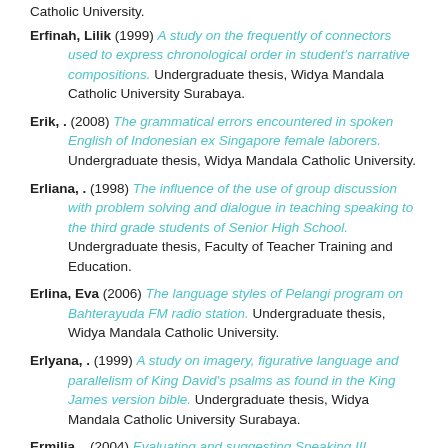Catholic University.
Erfinah, Lilik (1999) A study on the frequently of connectors used to express chronological order in student's narrative compositions. Undergraduate thesis, Widya Mandala Catholic University Surabaya.
Erik, . (2008) The grammatical errors encountered in spoken English of Indonesian ex Singapore female laborers. Undergraduate thesis, Widya Mandala Catholic University.
Erliana, . (1998) The influence of the use of group discussion with problem solving and dialogue in teaching speaking to the third grade students of Senior High School. Undergraduate thesis, Faculty of Teacher Training and Education.
Erlina, Eva (2006) The language styles of Pelangi program on Bahterayuda FM radio station. Undergraduate thesis, Widya Mandala Catholic University.
Erlyana, . (1999) A study on imagery, figurative language and parallelism of King David's psalms as found in the King James version bible. Undergraduate thesis, Widya Mandala Catholic University Surabaya.
Ermilia, . (2004) Evaluating and suggesting Speaking III